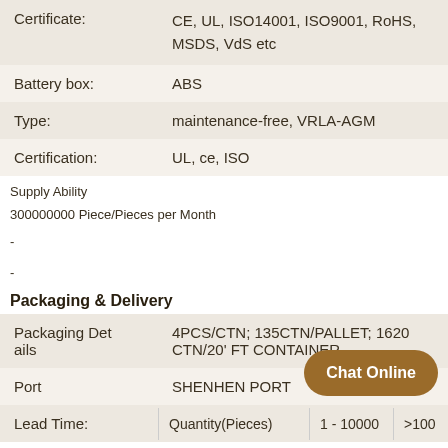| Field | Value |
| --- | --- |
| Certificate: | CE, UL, ISO14001, ISO9001, RoHS, MSDS, VdS etc |
| Battery box: | ABS |
| Type: | maintenance-free, VRLA-AGM |
| Certification: | UL, ce, ISO |
Supply Ability
300000000 Piece/Pieces per Month
-
-
Packaging & Delivery
| Field | Value |
| --- | --- |
| Packaging Details | 4PCS/CTN; 135CTN/PALLET; 1620 CTN/20' FT CONTAINER |
| Port | SHENHEN PORT |
| Lead Time: | Quantity(Pieces) | 1 - 10000 | >100 |
[Figure (other): Chat Online button overlay]